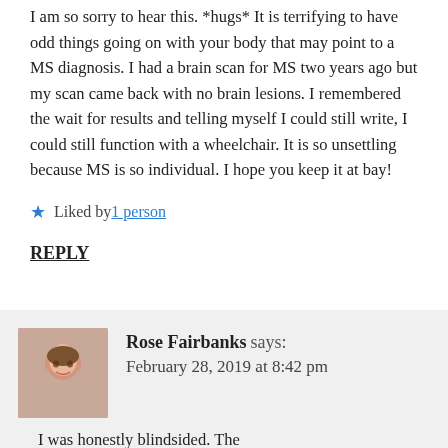I am so sorry to hear this. *hugs* It is terrifying to have odd things going on with your body that may point to a MS diagnosis. I had a brain scan for MS two years ago but my scan came back with no brain lesions. I remembered the wait for results and telling myself I could still write, I could still function with a wheelchair. It is so unsettling because MS is so individual. I hope you keep it at bay!
★ Liked by 1 person
REPLY
[Figure (photo): Avatar photo of Rose Fairbanks, a woman with brown hair smiling]
Rose Fairbanks says: February 28, 2019 at 8:42 pm
I was honestly blindsided. The